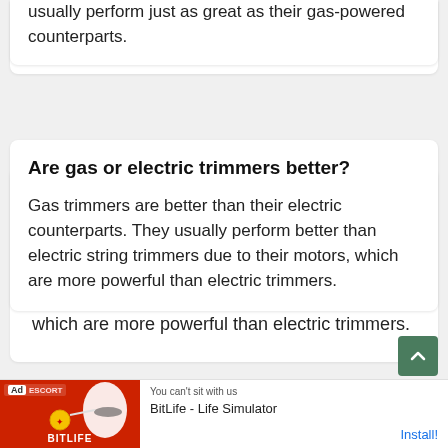usually perform just as great as their gas-powered counterparts.
Are gas or electric trimmers better?
Gas trimmers are better than their electric counterparts. They usually perform better than electric string trimmers due to their motors, which are more powerful than electric trimmers.
What string trimmer do professionals use?
[Figure (other): Advertisement banner for BitLife - Life Simulator app with red background image and Install button]